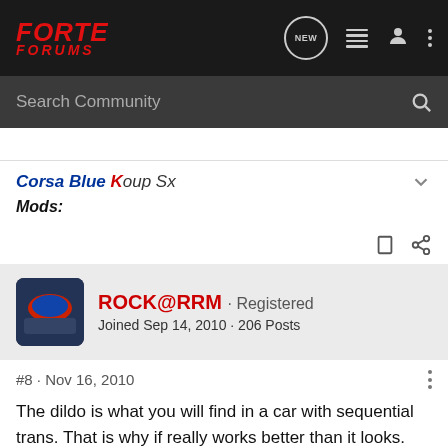FORTE FORUMS
Search Community
Corsa Blue Koup Sx
Mods:
ROCK@RRM · Registered
Joined Sep 14, 2010 · 206 Posts
#8 · Nov 16, 2010
The dildo is what you will find in a car with sequential trans. That is why if really works better than it looks. TIll you drive with one you will not know what you are missing. 🙂